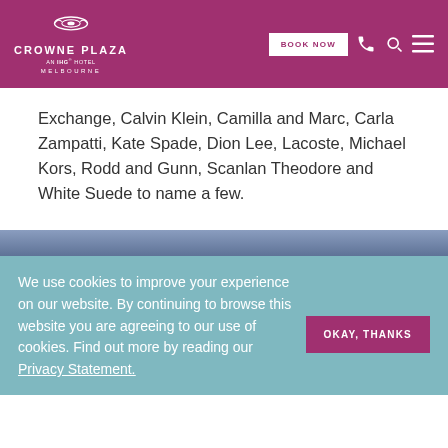CROWNE PLAZA AN IHO HOTEL MELBOURNE — BOOK NOW
Exchange, Calvin Klein, Camilla and Marc, Carla Zampatti, Kate Spade, Dion Lee, Lacoste, Michael Kors, Rodd and Gunn, Scanlan Theodore and White Suede to name a few.
We use cookies to improve your experience on our website. By continuing to browse this website you are agreeing to our use of cookies. Find out more by reading our Privacy Statement.